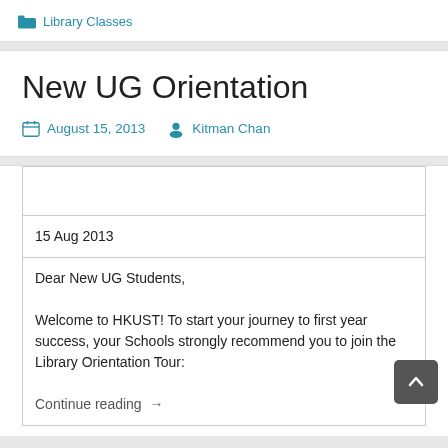Library Classes
New UG Orientation
August 15, 2013  Kitman Chan
|  |
| 15 Aug 2013 |
| Dear New UG Students,

Welcome to HKUST! To start your journey to first year success, your Schools strongly recommend you to join the Library Orientation Tour:

Continue reading → |